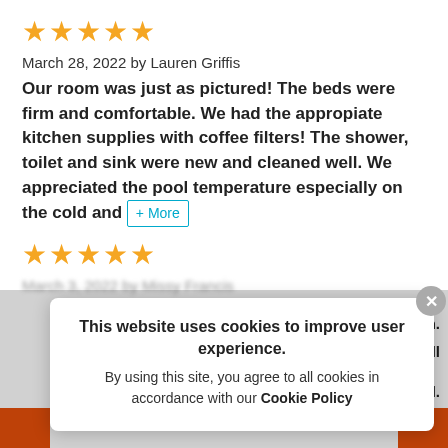[Figure (other): Five orange star rating icons]
March 28, 2022 by Lauren Griffis
Our room was just as pictured! The beds were firm and comfortable. We had the appropiate kitchen supplies with coffee filters! The shower, toilet and sink were new and cleaned well. We appreciated the pool temperature especially on the cold and [+ More]
[Figure (other): Five orange star rating icons]
March 3, 2022 by Missy Francis
This website uses cookies to improve user experience. By using this site, you agree to all cookies in accordance with our Cookie Policy